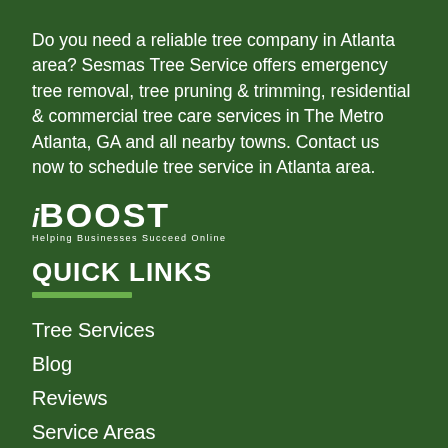Do you need a reliable tree company in Atlanta area? Sesmas Tree Service offers emergency tree removal, tree pruning & trimming, residential & commercial tree care services in The Metro Atlanta, GA and all nearby towns. Contact us now to schedule tree service in Atlanta area.
[Figure (logo): iBOOST logo with tagline 'Helping Businesses Succeed Online']
QUICK LINKS
Tree Services
Blog
Reviews
Service Areas